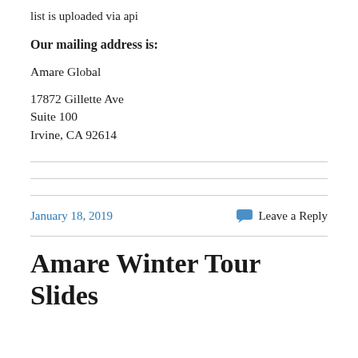list is uploaded via api
Our mailing address is:
Amare Global
17872 Gillette Ave
Suite 100
Irvine, CA 92614
January 18, 2019
Leave a Reply
Amare Winter Tour Slides